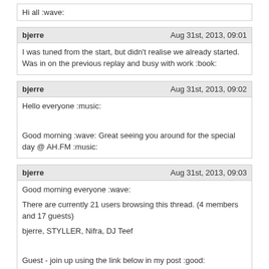Hi all :wave:
bjerre
Aug 31st, 2013, 09:01
I was tuned from the start, but didn't realise we already started. Was in on the previous replay and busy with work :book:
bjerre
Aug 31st, 2013, 09:02
Hello everyone :music:

Good morning :wave: Great seeing you around for the special day @ AH.FM :music:
bjerre
Aug 31st, 2013, 09:03
Good morning everyone :wave:

There are currently 21 users browsing this thread. (4 members and 17 guests)

bjerre, STYLLER, Nifra, DJ Teef

Guest - join up using the link below in my post :good:
bjerre
Aug 31st, 2013, 09:03
:music: Nice start of Fazi's set :music:

Lovely dark beats ... make my keyboard work faster :crazy: